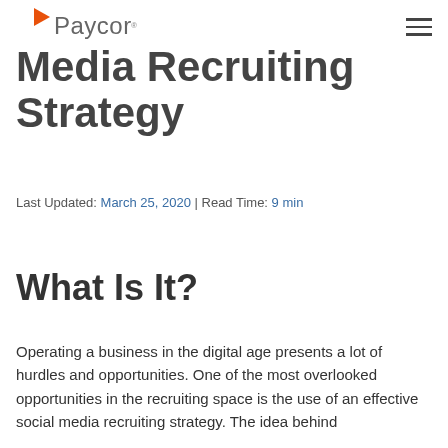Paycor
Media Recruiting Strategy
Last Updated: March 25, 2020 | Read Time: 9 min
What Is It?
Operating a business in the digital age presents a lot of hurdles and opportunities. One of the most overlooked opportunities in the recruiting space is the use of an effective social media recruiting strategy. The idea behind